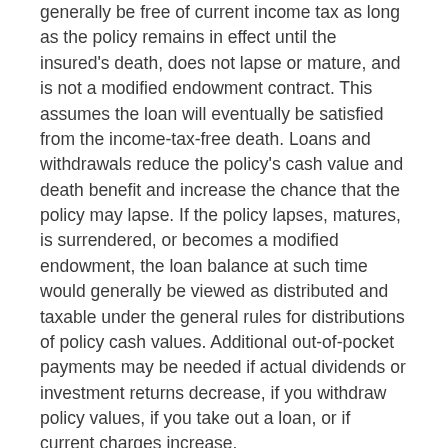generally be free of current income tax as long as the policy remains in effect until the insured's death, does not lapse or mature, and is not a modified endowment contract. This assumes the loan will eventually be satisfied from the income-tax-free death. Loans and withdrawals reduce the policy's cash value and death benefit and increase the chance that the policy may lapse. If the policy lapses, matures, is surrendered, or becomes a modified endowment, the loan balance at such time would generally be viewed as distributed and taxable under the general rules for distributions of policy cash values. Additional out-of-pocket payments may be needed if actual dividends or investment returns decrease, if you withdraw policy values, if you take out a loan, or if current charges increase.
You should be aware that, in addition to charging a modest interest rate for loans against a policy, the insurance company may pay a lower rate of return